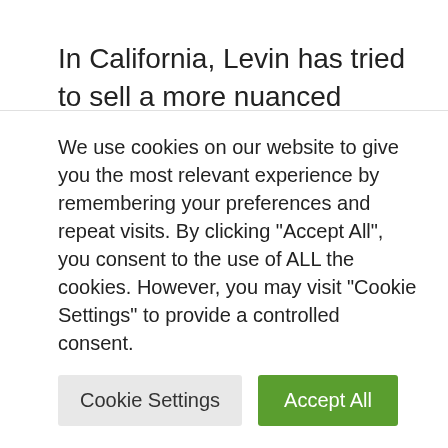In California, Levin has tried to sell a more nuanced defense of gas prices by talking about the three P's.
But his message is being challenged not just by the handful of Republicans running to oppose him but also by many of his constituents. His district—which runs along the coastline from southern Orange County
We use cookies on our website to give you the most relevant experience by remembering your preferences and repeat visits. By clicking "Accept All", you consent to the use of ALL the cookies. However, you may visit "Cookie Settings" to provide a controlled consent.